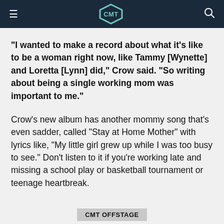CMT
"I wanted to make a record about what it's like to be a woman right now, like Tammy [Wynette] and Loretta [Lynn] did," Crow said. "So writing about being a single working mom was important to me."
Crow's new album has another mommy song that's even sadder, called "Stay at Home Mother" with lyrics like, "My little girl grew up while I was too busy to see." Don't listen to it if you're working late and missing a school play or basketball tournament or teenage heartbreak.
CMT OFFSTAGE